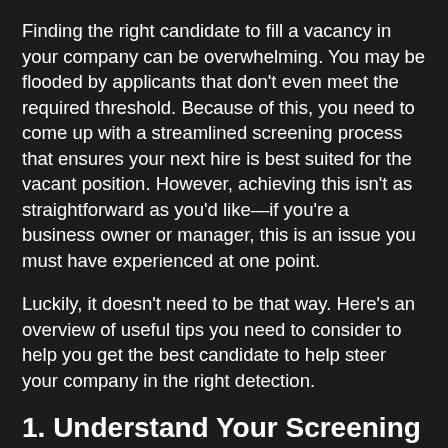Finding the right candidate to fill a vacancy in your company can be overwhelming. You may be flooded by applicants that don't even meet the required threshold. Because of this, you need to come up with a streamlined screening process that ensures your next hire is best suited for the vacant position. However, achieving this isn't as straightforward as you'd like—if you're a business owner or manager, this is an issue you must have experienced at one point.
Luckily, it doesn't need to be that way. Here's an overview of useful tips you need to consider to help you get the best candidate to help steer your company in the right detection.
1. Understand Your Screening Needs